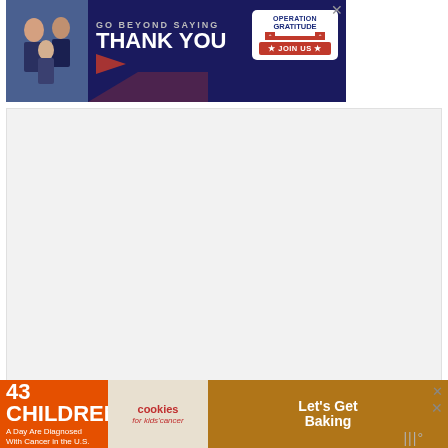[Figure (photo): Top banner advertisement: 'Go Beyond Saying Thank You' with Operation Gratitude logo and Join Us button on dark navy background with people shaking hands on left side.]
[Figure (other): Large gray advertisement placeholder area with watermark icon in bottom right corner.]
Instructions
Season the beef cubes with salt and pepper. Set aside.
Press the Sauté button on your pressure cooker. When display reads HOT, add the oil. Swirl around the bottom.
Add the beef chunks to the hot oil in batches...
[Figure (other): Bottom banner advertisement: '43 Children A Day Are Diagnosed With Cancer in the U.S.' with Cookies for Kids Cancer logo and Let's Get Baking text.]